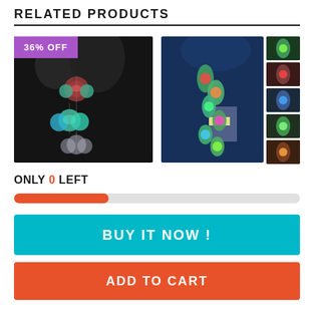RELATED PRODUCTS
[Figure (photo): Wind chime with glowing paw print ornaments lit in teal and green against dark background, with 36% OFF badge]
[Figure (photo): Solar-powered hummingbird wind chime glowing with colorful LED lights at night, with multiple thumbnail images on right]
🔥LAST DAY SALE OFF🔥
Solar-Powered
ONLY 0 LEFT
BUY IT NOW !
ADD TO CART